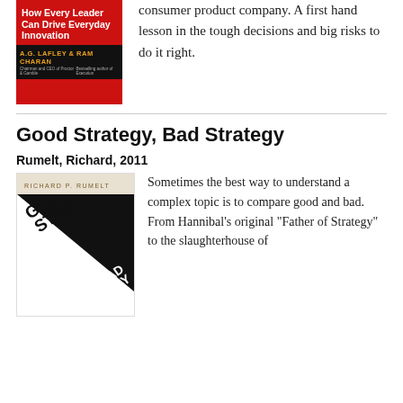[Figure (photo): Book cover: 'How Every Leader Can Drive Everyday Innovation' by A.G. Lafley and Ram Charan, red cover with black author bar]
consumer product company. A first hand lesson in the tough decisions and big risks to do it right.
Good Strategy, Bad Strategy
Rumelt, Richard, 2011
[Figure (photo): Book cover: 'Good Strategy Bad Strategy' by Richard P. Rumelt, diagonal black and white design]
Sometimes the best way to understand a complex topic is to compare good and bad. From Hannibal's original "Father of Strategy" to the slaughterhouse of